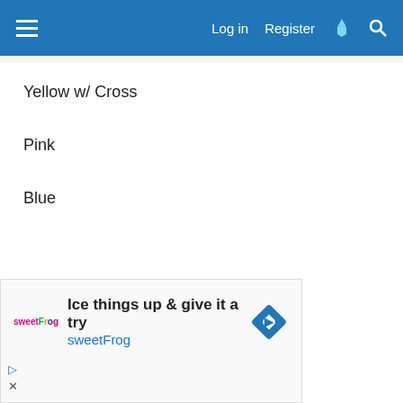Log in  Register
Yellow w/ Cross
Pink
Blue
[Figure (other): Advertisement for sweetFrog frozen yogurt: 'Ice things up & give it a try sweetFrog' with sweetFrog logo and a blue diamond directional sign icon.]